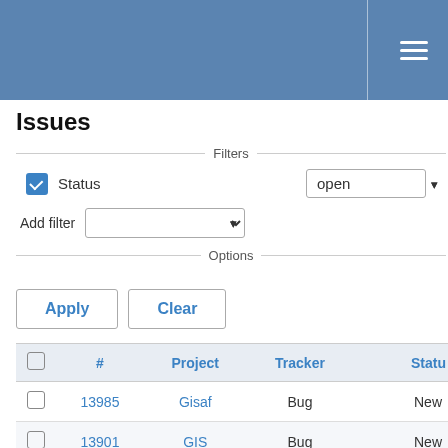Issues
Filters
Status — open
Add filter
Options
Apply   Clear
|  | # | Project | Tracker | Status |
| --- | --- | --- | --- | --- |
|  | 13985 | Gisaf | Bug | New |
|  | 13901 | GIS | Bug | New |
|  | 13885 | GIS | Bug | Resolve… |
|  | 13805 | Gisaf | Bug | Resolve… |